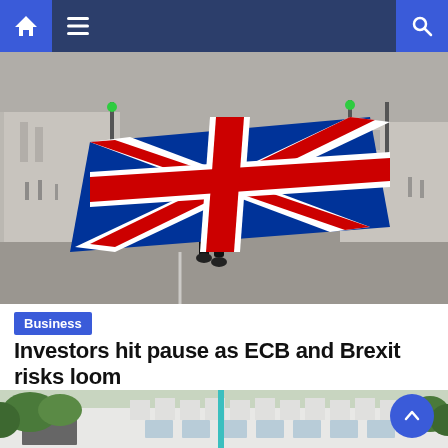Navigation bar with home, menu, and search icons
[Figure (photo): Person walking away from camera in a city street, holding a large Union Jack (UK flag) spread wide behind them. The street appears to be in central London with classical architecture visible on the left side.]
Business
Investors hit pause as ECB and Brexit risks loom
[Figure (photo): Low-angle view of a modern white building with large windows and green trees in the foreground. A turquoise/teal pole or structure is visible in the center of the image.]